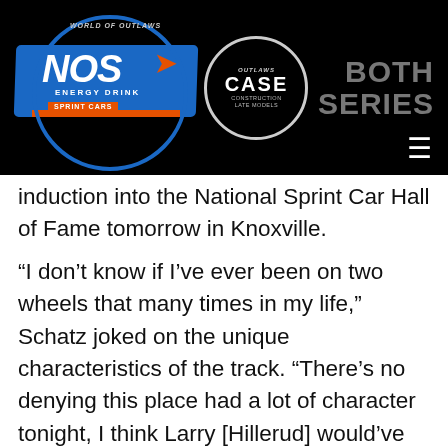[Figure (logo): World of Outlaws NOS Energy Drink Sprint Cars logo, Outlaws CASE Construction Late Models logo, and BOTH SERIES text on black header bar]
induction into the National Sprint Car Hall of Fame tomorrow in Knoxville.
“I don’t know if I’ve ever been on two wheels that many times in my life,” Schatz joked on the unique characteristics of the track. “There’s no denying this place had a lot of character tonight, I think Larry [Hillerud] would’ve been smiling down on that one. That’s the nature of the beast, though, not much surprises me on the road anymore. This team keeps digging and we keep putting the results together. The more we show up on this podium, we’ll eventually get back into victory lane.”
Sch... (partial, cut off at bottom)